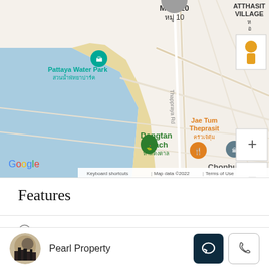[Figure (map): Google Maps screenshot showing Dongtan Beach area near Pattaya, Thailand. Shows Pattaya Water Park (สวนน้ำพัทยาปาร์ค), Dongtan Beach (หาดดงตาล), Thep Prasit Rd, Thappraya Rd, Jae Tum Theprasit (ครัวเจ้ตุ้ม), Chonburi, Atthasit Village labels, map controls (zoom in/out, street view person), Google logo, 'Keyboard shortcuts | Map data ©2022 | Terms of Use' footer.]
Features
Air Conditioning
Pearl Property